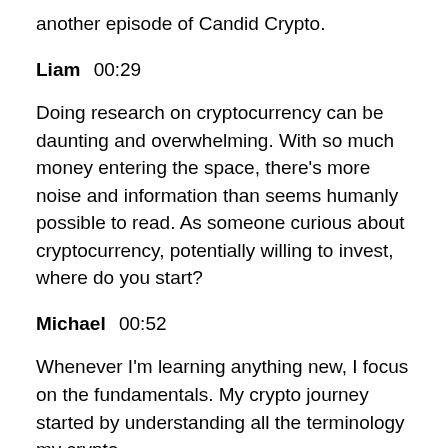another episode of Candid Crypto.
Liam  00:29
Doing research on cryptocurrency can be daunting and overwhelming. With so much money entering the space, there's more noise and information than seems humanly possible to read. As someone curious about cryptocurrency, potentially willing to invest, where do you start?
Michael  00:52
Whenever I'm learning anything new, I focus on the fundamentals. My crypto journey started by understanding all the terminology my crypto